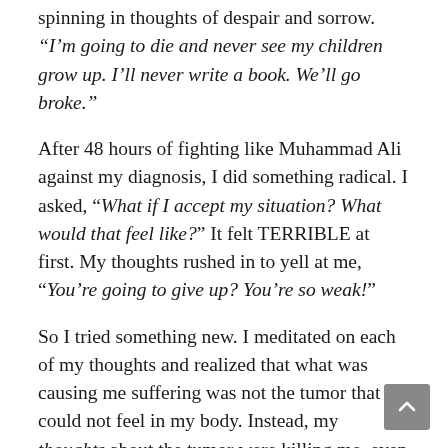spinning in thoughts of despair and sorrow. “I’m going to die and never see my children grow up. I’ll never write a book. We’ll go broke.”
After 48 hours of fighting like Muhammad Ali against my diagnosis, I did something radical. I asked, “What if I accept my situation? What would that feel like?” It felt TERRIBLE at first. My thoughts rushed in to yell at me, “You’re going to give up? You’re so weak!”
So I tried something new. I meditated on each of my thoughts and realized that what was causing me suffering was not the tumor that I could not feel in my body. Instead, my thoughts about the tumor were killing me, even before I spoke to a specialist. I needed to stop blindly believing